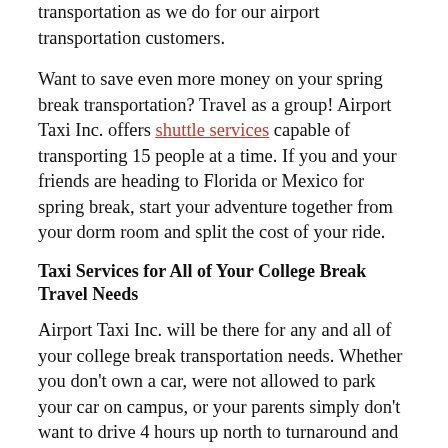transportation as we do for our airport transportation customers.
Want to save even more money on your spring break transportation? Travel as a group! Airport Taxi Inc. offers shuttle services capable of transporting 15 people at a time. If you and your friends are heading to Florida or Mexico for spring break, start your adventure together from your dorm room and split the cost of your ride.
Taxi Services for All of Your College Break Travel Needs
Airport Taxi Inc. will be there for any and all of your college break transportation needs. Whether you don't own a car, were not allowed to park your car on campus, or your parents simply don't want to drive 4 hours up north to turnaround and drive 4 hours back down, Airport Taxi Inc. will be there, offering safe and affordable transportation anywhere you need to go. Don't miss out on spending quality time with your